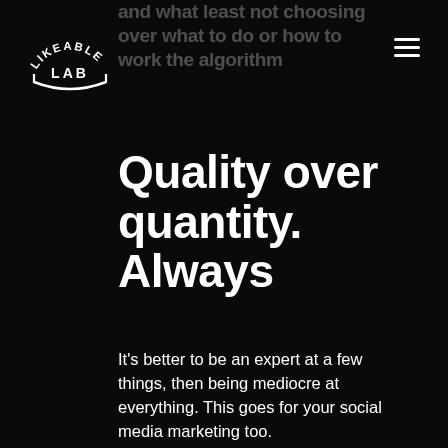[Figure (logo): Likeable Lab circular logo in white on black background]
and what least not choosing over what to do or how to work the algorithm
Quality over quantity. Always
It's better to be an expert at a few things, then being mediocre at everything. This goes for your social media marketing too.
There is a lot of pressure these days with new platforms popping up left, right and centre, making you feel like if you don't jump, you'll get left